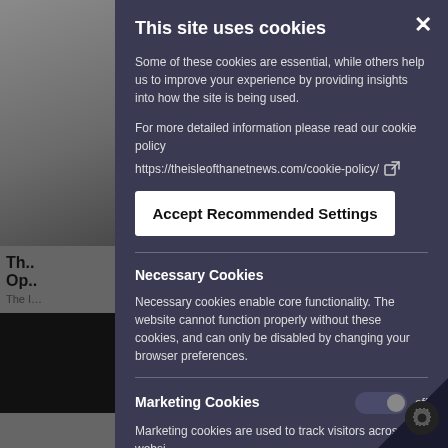[Figure (screenshot): Background website content partially visible behind cookie consent modal, showing a news article with headline starting 'Th...' and 'Op...' with a photo]
This site uses cookies
Some of these cookies are essential, while others help us to improve your experience by providing insights into how the site is being used.
For more detailed information please read our cookie policy
https://theisleofthanetnews.com/cookie-policy/
Accept Recommended Settings
Necessary Cookies
Necessary cookies enable core functionality. The website cannot function properly without these cookies, and can only be disabled by changing your browser preferences.
Marketing Cookies
Marketing cookies are used to track visitors across websi